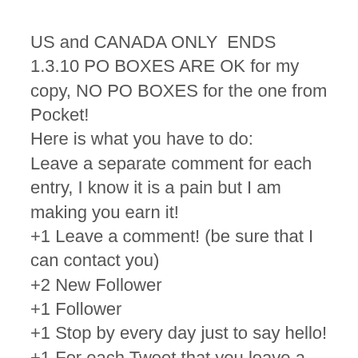US and CANADA ONLY  ENDS 1.3.10 PO BOXES ARE OK for my copy, NO PO BOXES for the one from Pocket! Here is what you have to do: Leave a separate comment for each entry, I know it is a pain but I am making you earn it! +1 Leave a comment! (be sure that I can contact you) +2 New Follower +1 Follower +1 Stop by every day just to say hello! +1 For each Tweet that you leave a link for daily +1 For each Post about this on any social site or your blog that you leave a link. +3 Sign up to follow Kelly Gay at her blog